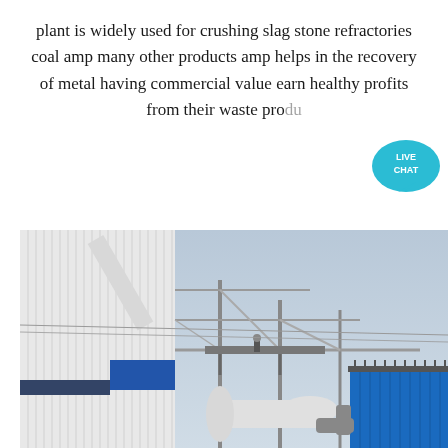plant is widely used for crushing slag stone refractories coal amp many other products amp helps in the recovery of metal having commercial value earn healthy profits from their waste produ...
[Figure (photo): Industrial plant facility showing a tall white corrugated metal building structure with blue industrial equipment on the right side (dust collector or filter unit), steel framework/scaffolding in the middle, pipes, and a worker visible on a platform. Hazy sky in background.]